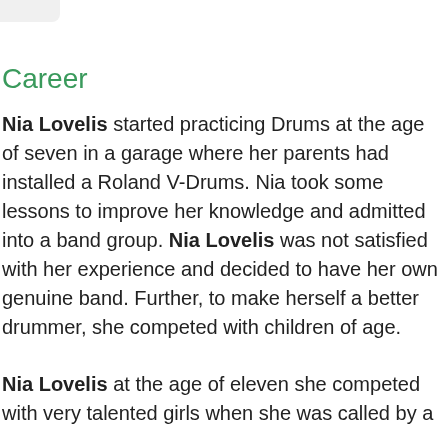Career
Nia Lovelis started practicing Drums at the age of seven in a garage where her parents had installed a Roland V-Drums. Nia took some lessons to improve her knowledge and admitted into a band group. Nia Lovelis was not satisfied with her experience and decided to have her own genuine band. Further, to make herself a better drummer, she competed with children of age.
Nia Lovelis at the age of eleven she competed with very talented girls when she was called by a